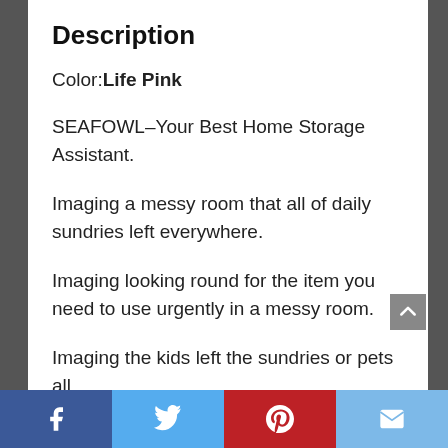Description
Color: Life Pink
SEAFOWL–Your Best Home Storage Assistant.
Imaging a messy room that all of daily sundries left everywhere.
Imaging looking round for the item you need to use urgently in a messy room.
Imaging the kids left the sundries or pets all